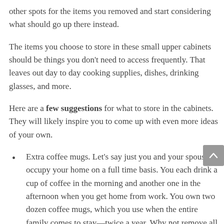other spots for the items you removed and start considering what should go up there instead.
The items you choose to store in these small upper cabinets should be things you don't need to access frequently. That leaves out day to day cooking supplies, dishes, drinking glasses, and more.
Here are a few suggestions for what to store in the cabinets. They will likely inspire you to come up with even more ideas of your own.
Extra coffee mugs. Let's say just you and your spouse occupy your home on a full time basis. You each drink a cup of coffee in the morning and another one in the afternoon when you get home from work. You own two dozen coffee mugs, which you use when the entire family comes to stay—twice a year. Why not remove all but a half dozen